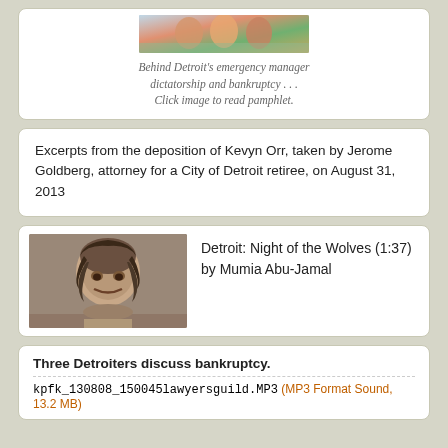[Figure (photo): Group photo of people at top of page, partially cropped]
Behind Detroit's emergency manager dictatorship and bankruptcy . . . Click image to read pamphlet.
Excerpts from the deposition of Kevyn Orr, taken by Jerome Goldberg, attorney for a City of Detroit retiree, on August 31, 2013
[Figure (photo): Portrait photo of Mumia Abu-Jamal with dreadlocks]
Detroit: Night of the Wolves (1:37) by Mumia Abu-Jamal
Three Detroiters discuss bankruptcy.
kpfk_130808_150045lawyersguild.MP3 (MP3 Format Sound, 13.2 MB)